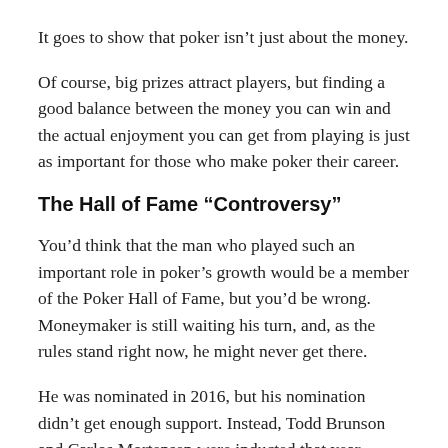It goes to show that poker isn't just about the money.
Of course, big prizes attract players, but finding a good balance between the money you can win and the actual enjoyment you can get from playing is just as important for those who make poker their career.
The Hall of Fame “Controversy”
You’d think that the man who played such an important role in poker’s growth would be a member of the Poker Hall of Fame, but you’d be wrong. Moneymaker is still waiting his turn, and, as the rules stand right now, he might never get there.
He was nominated in 2016, but his nomination didn’t get enough support. Instead, Todd Brunson and Carlos Mortensen were inducted that year.